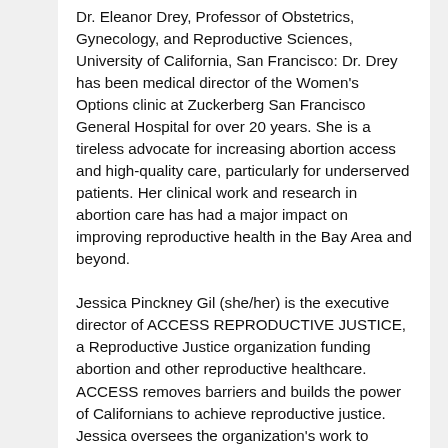Dr. Eleanor Drey, Professor of Obstetrics, Gynecology, and Reproductive Sciences, University of California, San Francisco: Dr. Drey has been medical director of the Women's Options clinic at Zuckerberg San Francisco General Hospital for over 20 years. She is a tireless advocate for increasing abortion access and high-quality care, particularly for underserved patients. Her clinical work and research in abortion care has had a major impact on improving reproductive health in the Bay Area and beyond.
Jessica Pinckney Gil (she/her) is the executive director of ACCESS REPRODUCTIVE JUSTICE, a Reproductive Justice organization funding abortion and other reproductive healthcare. ACCESS removes barriers and builds the power of Californians to achieve reproductive justice. Jessica oversees the organization's work to combine direct services, community education, and policy advocacy to promote real reproductive options and access to quality healthcare for everybody.